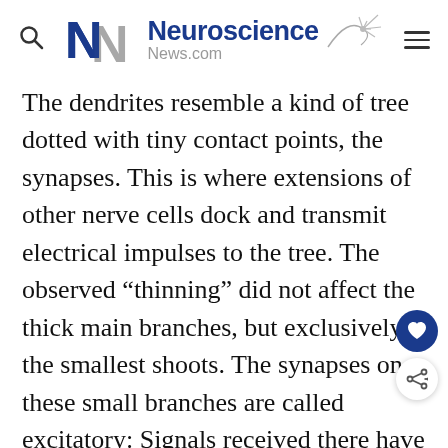Neuroscience News.com
The dendrites resemble a kind of tree dotted with tiny contact points, the synapses. This is where extensions of other nerve cells dock and transmit electrical impulses to the tree. The observed “thinning” did not affect the thick main branches, but exclusively the smallest shoots. The synapses on these small branches are called excitatory: Signals received there have an arousing effect. This means that they increase the probability that the neuron will in turn generate an electrical signal, in other